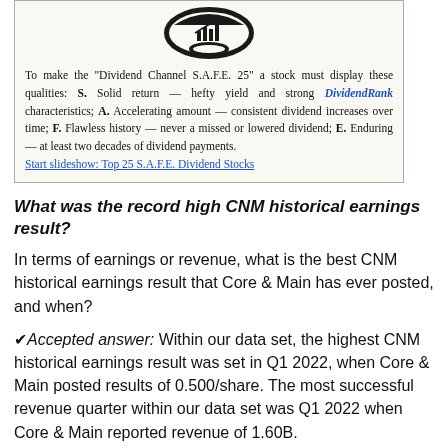[Figure (logo): Dividend Channel logo — circular badge with stylized bar chart and stars]
To make the "Dividend Channel S.A.F.E. 25" a stock must display these qualities: S. Solid return — hefty yield and strong DividendRank characteristics; A. Accelerating amount — consistent dividend increases over time; F. Flawless history — never a missed or lowered dividend; E. Enduring — at least two decades of dividend payments.
Start slideshow: Top 25 S.A.F.E. Dividend Stocks
What was the record high CNM historical earnings result?
In terms of earnings or revenue, what is the best CNM historical earnings result that Core & Main has ever posted, and when?
✔Accepted answer: Within our data set, the highest CNM historical earnings result was set in Q1 2022, when Core & Main posted results of 0.500/share. The most successful revenue quarter within our data set was Q1 2022 when Core & Main reported revenue of 1.60B.